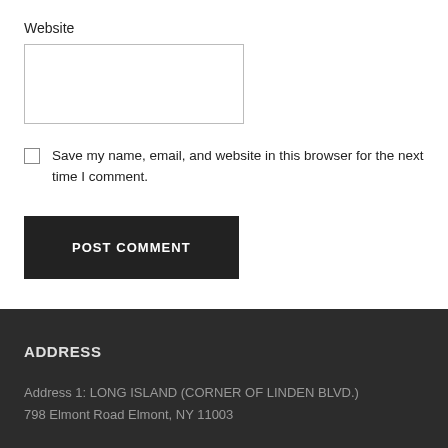Website
Save my name, email, and website in this browser for the next time I comment.
POST COMMENT
ADDRESS
Address 1: LONG ISLAND (CORNER OF LINDEN BLVD.)
798 Elmont Road Elmont, NY 11003